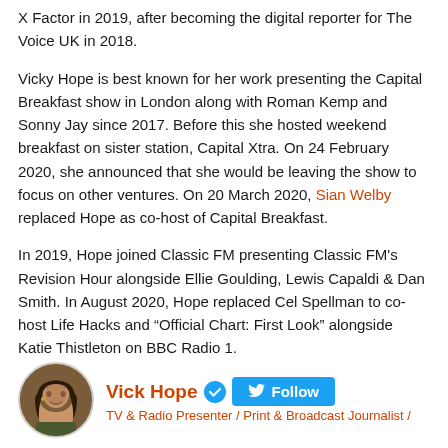X Factor in 2019, after becoming the digital reporter for The Voice UK in 2018.
Vicky Hope is best known for her work presenting the Capital Breakfast show in London along with Roman Kemp and Sonny Jay since 2017. Before this she hosted weekend breakfast on sister station, Capital Xtra. On 24 February 2020, she announced that she would be leaving the show to focus on other ventures. On 20 March 2020, Sian Welby replaced Hope as co-host of Capital Breakfast.
In 2019, Hope joined Classic FM presenting Classic FM's Revision Hour alongside Ellie Goulding, Lewis Capaldi & Dan Smith. In August 2020, Hope replaced Cel Spellman to co-host Life Hacks and “Official Chart: First Look” alongside Katie Thistleton on BBC Radio 1.
[Figure (other): Twitter profile card showing Vick Hope with avatar photo, verified badge, Follow button, and subtitle 'TV & Radio Presenter / Print & Broadcast Journalist /']